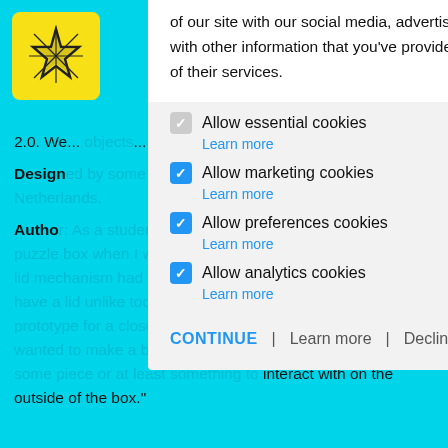[Figure (screenshot): Website page with cookie consent modal overlay. Top bar shows yellow logo with star pattern and hamburger menu icon on cyan/teal background. Background text about puzzle box design partially visible. Modal shows cookie consent options with checkboxes for essential, marketing, preferences, and analytics cookies.]
of our site with our social media, advertising and analytics partners who may combine it with other information that you've provided to them or that they've collected from your use of their services.
2.0. We... objects... inside
Design...
Autho...
Allow essential cookies
Learn more
Allow marketing cookies
Learn more
Allow preferences cookies
Learn more
Allow analytics cookies
Learn more
CONTINUE | Learn more | Decline